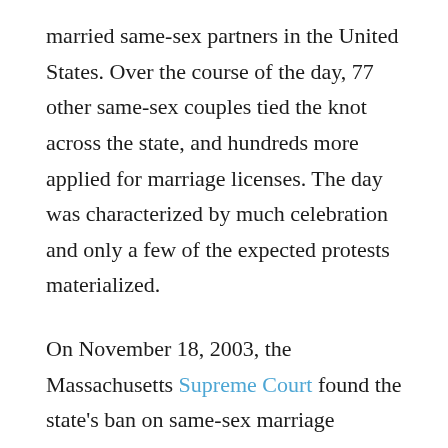married same-sex partners in the United States. Over the course of the day, 77 other same-sex couples tied the knot across the state, and hundreds more applied for marriage licenses. The day was characterized by much celebration and only a few of the expected protests materialized.
On November 18, 2003, the Massachusetts Supreme Court found the state's ban on same-sex marriage unconstitutional, ruling that the state could not deny the protections, benefits and obligations conferred by civil marriage to two individuals of the same sex who